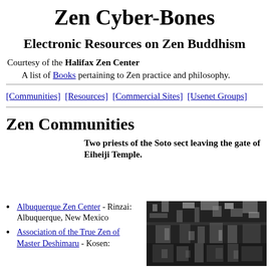Zen Cyber-Bones
Electronic Resources on Zen Buddhism
Courtesy of the Halifax Zen Center
A list of Books pertaining to Zen practice and philosophy.
[Communities]  [Resources]  [Commercial Sites]  [Usenet Groups]
Zen Communities
Two priests of the Soto sect leaving the gate of Eiheiji Temple.
Albuquerque Zen Center - Rinzai: Albuquerque, New Mexico
Association of the True Zen of Master Deshimaru - Kosen:
[Figure (photo): Black and white photo of trees/gate at Eiheiji Temple]